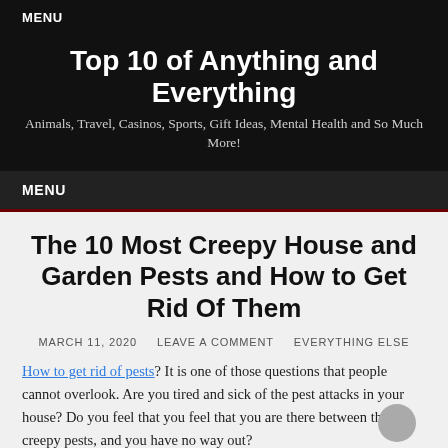MENU
Top 10 of Anything and Everything
Animals, Travel, Casinos, Sports, Gift Ideas, Mental Health and So Much More!
MENU
The 10 Most Creepy House and Garden Pests and How to Get Rid Of Them
MARCH 11, 2020   LEAVE A COMMENT   EVERYTHING ELSE
How to get rid of pests? It is one of those questions that people cannot overlook. Are you tired and sick of the pest attacks in your house? Do you feel that you feel that you are there between the creepy pests, and you have no way out?